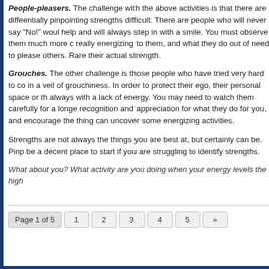People-pleasers. The challenge with the above activities is that there are difficulties pinpointing strengths difficult. There are people who will never say "No!" would help and will always step in with a smile. You must observe them much more closely, really energizing to them, and what they do out of need to please others. Rarely their actual strength.
Grouches. The other challenge is those people who have tried very hard to cover in a veil of grouchiness. In order to protect their ego, their personal space or their always with a lack of energy. You may need to watch them carefully for a longer recognition and appreciation for what they do for you, and encourage the things can uncover some energizing activities.
Strengths are not always the things you are best at, but certainly can be. Pinpointing be a decent place to start if you are struggling to identify strengths.
What about you? What activity are you doing when your energy levels the high
Page 1 of 5  1  2  3  4  5  »